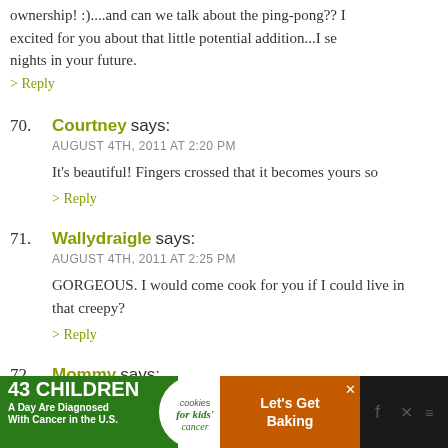ownership! :)....and can we talk about the ping-pong?? I excited for you about that little potential addition...I se nights in your future.
> Reply
70. Courtney says: AUGUST 4TH, 2011 AT 2:20 PM
It's beautiful! Fingers crossed that it becomes yours so
> Reply
71. Wallydraigle says: AUGUST 4TH, 2011 AT 2:25 PM
GORGEOUS. I would come cook for you if I could live in that creepy?
> Reply
72. Mommy says: AUGUST 4TH, 2011 AT 3:19 PM
[Figure (screenshot): Advertisement banner: '43 CHILDREN A Day Are Diagnosed With Cancer in the U.S.' with cookies for kids cancer and 'Let's Get Baking' on orange background]